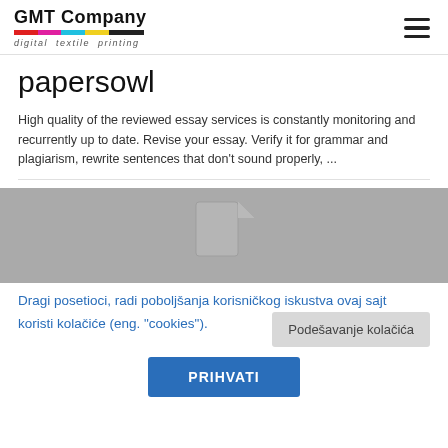GMT Company digital textile printing
papersowl
High quality of the reviewed essay services is constantly monitoring and recurrently up to date. Revise your essay. Verify it for grammar and plagiarism, rewrite sentences that don't sound properly, ...
[Figure (illustration): Gray placeholder image with a file/document icon in the center]
Dragi posetioci, radi poboljšanja korisničkog iskustva ovaj sajt koristi kolačiće (eng. "cookies").
Podešavanje kolačića
PRIHVATI